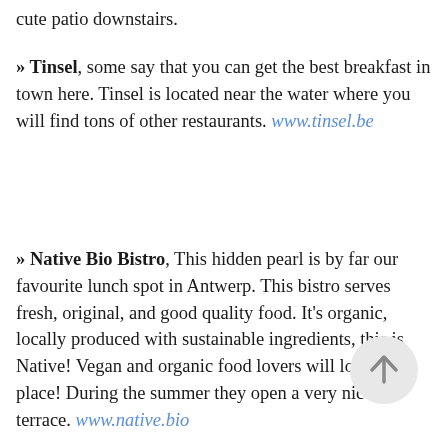cute patio downstairs.
» Tinsel, some say that you can get the best breakfast in town here. Tinsel is located near the water where you will find tons of other restaurants. www.tinsel.be
» Native Bio Bistro, This hidden pearl is by far our favourite lunch spot in Antwerp. This bistro serves fresh, original, and good quality food. It's organic, locally produced with sustainable ingredients, this is Native! Vegan and organic food lovers will love this place! During the summer they open a very nice terrace. www.native.bio
[Figure (illustration): A circular back-to-top button with an upward arrow icon]